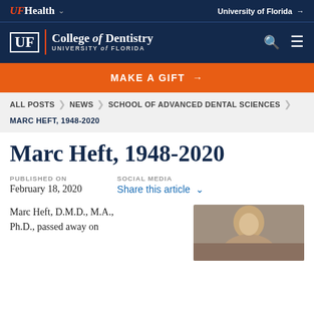UFHealth | University of Florida →
[Figure (logo): UF College of Dentistry logo with search and menu icons on dark navy background]
MAKE A GIFT →
ALL POSTS > NEWS > SCHOOL OF ADVANCED DENTAL SCIENCES
MARC HEFT, 1948-2020
Marc Heft, 1948-2020
PUBLISHED ON
February 18, 2020
SOCIAL MEDIA
Share this article ˅
Marc Heft, D.M.D., M.A., Ph.D., passed away on
[Figure (photo): Portrait photo of Marc Heft]